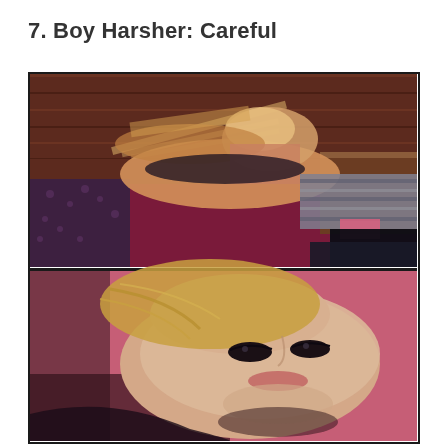7. Boy Harsher: Careful
[Figure (photo): Two stacked film stills from Boy Harsher's 'Careful' music video. Top frame shows a person lying on a red/pink surface with motion blur, wooden paneled wall in background, wearing boots. Bottom frame shows a close-up of a blonde person's face lying on a pink/red surface looking upward.]